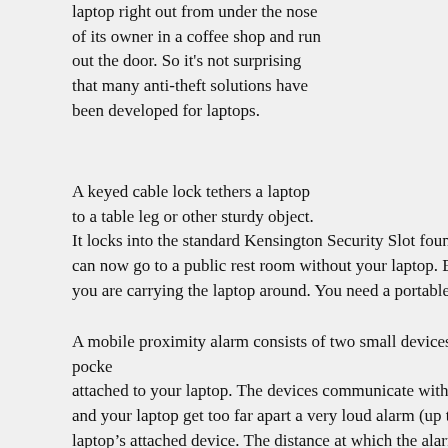laptop right out from under the nose of its owner in a coffee shop and run out the door. So it's not surprising that many anti-theft solutions have been developed for laptops.
A keyed cable lock tethers a laptop to a table leg or other sturdy object. It locks into the standard Kensington Security Slot found on 99 percent of can now go to a public rest room without your laptop. But a cable lock is c you are carrying the laptop around. You need a portable “lock” that ties yo
A mobile proximity alarm consists of two small devices, one in your pocke attached to your laptop. The devices communicate with each other via radi and your laptop get too far apart a very loud alarm (up to 110 decibels) sou laptop’s attached device. The distance at which the alarm is triggered can b feet up to about 10 yards.
A more sophisticated proximity alarm made by Caveo protects your laptop unauthorized use even if a thief gets away with it. Based on a PC Card, suc an alarm and blink bright LED lights rapidly to draw unwanted attention to